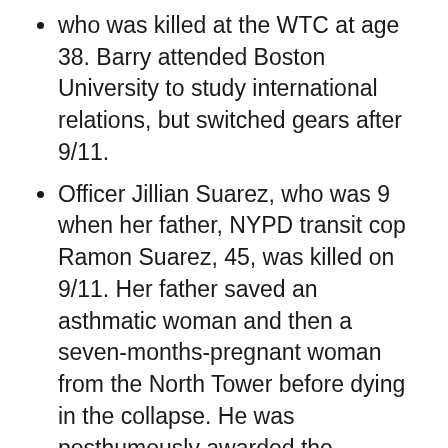who was killed at the WTC at age 38. Barry attended Boston University to study international relations, but switched gears after 9/11.
Officer Jillian Suarez, who was 9 when her father, NYPD transit cop Ramon Suarez, 45, was killed on 9/11. Her father saved an asthmatic woman and then a seven-months-pregnant woman from the North Tower before dying in the collapse. He was posthumously awarded the NYPD's Medal of Honor for his heroism.
Joseph Vigiano Jr. and his brothers James and John were 8 years, 6 years, and 3 months old, respectively, when their father, NYPD detective Joseph Vigiano Sr., died on 9/11. Their